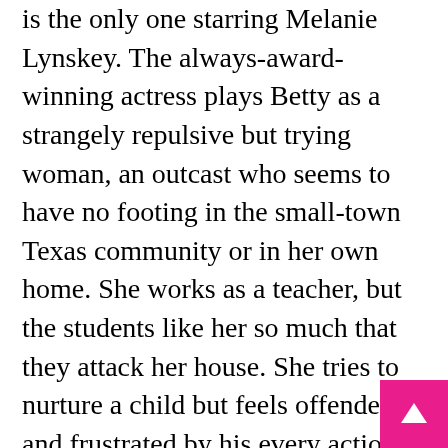is the only one starring Melanie Lynskey. The always-award-winning actress plays Betty as a strangely repulsive but trying woman, an outcast who seems to have no footing in the small-town Texas community or in her own home. She works as a teacher, but the students like her so much that they attack her house. She tries to nurture a child but feels offended and frustrated by his every action. More unhappy than vicious, she's the sort of mother rarely seen on screen, and Lynskey embodies the role with nuance and care.
Biel also shines as the hyper-productive Candy who jots down thick to-do lists for extramarital affairs. She is both a daydreamer and a